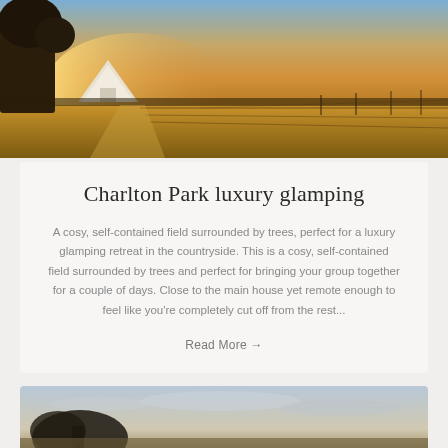[Figure (photo): Aerial/landscape photo of a glamping tent in a golden field at sunset, with trees on the left and flat countryside in the background under a dramatic sky]
Charlton Park luxury glamping
A cosy, self-contained field surrounded by trees, perfect for a luxury glamping retreat in the countryside. This is a cosy, self-contained field surrounded by trees and perfect for bringing your group together for a couple of days. Close to the main house yet remote enough to feel like you're completely cut off from the rest...
Read More →
[Figure (photo): Partial landscape photo showing a tree silhouette against a pale sky at dusk or dawn]